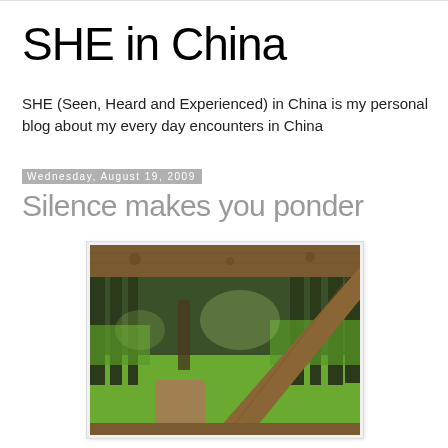SHE in China
SHE (Seen, Heard and Experienced) in China is my personal blog about my every day encounters in China
Wednesday, August 19, 2009
Silence makes you ponder
[Figure (photo): Outdoor scene viewed through rustic wooden log fence/structure. Large diagonal and horizontal logs frame the view of a grassy path or clearing with trees in the background. Natural daylight, green grass visible below.]